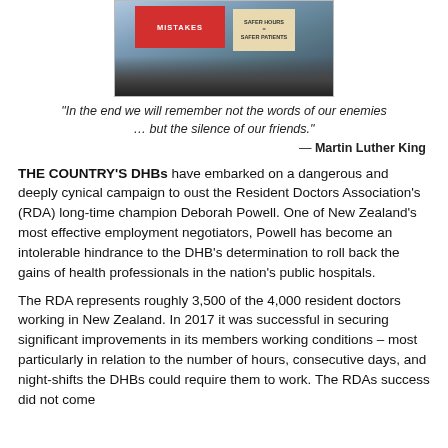[Figure (photo): Protesters holding signs reading 'MISTAKES' in red and 'SAFER HOURS = SAFER PATIENTS' on a beige sign, a crowd of people demonstrating outdoors.]
“In the end we will remember not the words of our enemies … but the silence of our friends.”
— Martin Luther King
THE COUNTRY’S DHBs have embarked on a dangerous and deeply cynical campaign to oust the Resident Doctors Association’s (RDA) long-time champion Deborah Powell. One of New Zealand’s most effective employment negotiators, Powell has become an intolerable hindrance to the DHB’s determination to roll back the gains of health professionals in the nation’s public hospitals.
The RDA represents roughly 3,500 of the 4,000 resident doctors working in New Zealand. In 2017 it was successful in securing significant improvements in its members working conditions – most particularly in relation to the number of hours, consecutive days, and night-shifts the DHBs could require them to work. The RDAs success did not come